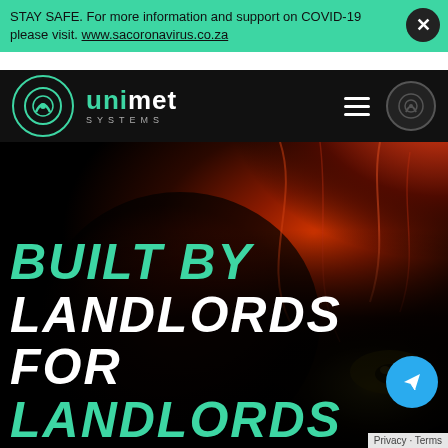STAY SAFE. For more information and support on COVID-19 please visit. www.sacoronavirus.co.za
[Figure (logo): Unimet Systems logo with circular icon and text, on dark navigation bar]
[Figure (photo): Close-up photo of a woman with red/orange hair and green eye, dramatic dark background]
BUILT BY LANDLORDS FOR LANDLORDS